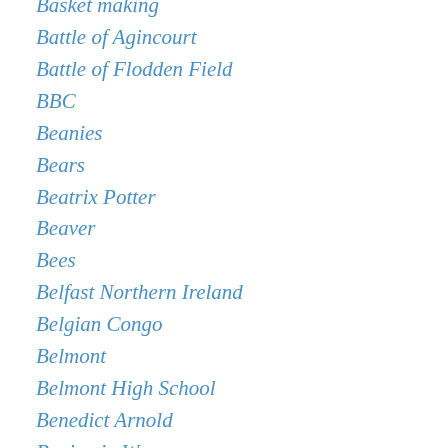Basket making
Battle of Agincourt
Battle of Flodden Field
BBC
Beanies
Bears
Beatrix Potter
Beaver
Bees
Belfast Northern Ireland
Belgian Congo
Belmont
Belmont High School
Benedict Arnold
Benjamin Warner
Bergen Norway
Beryl Markham
Besthorpe
Beverly Massachusetts
Bhutan